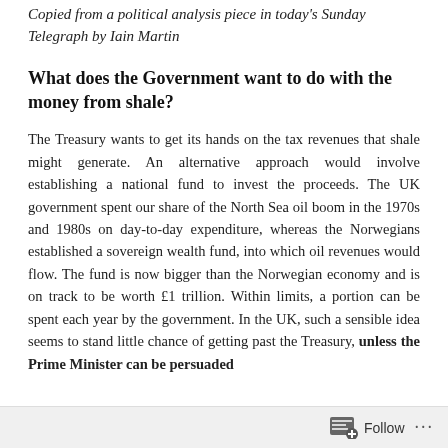Copied from a political analysis piece in today's Sunday Telegraph by Iain Martin
What does the Government want to do with the money from shale?
The Treasury wants to get its hands on the tax revenues that shale might generate. An alternative approach would involve establishing a national fund to invest the proceeds. The UK government spent our share of the North Sea oil boom in the 1970s and 1980s on day-to-day expenditure, whereas the Norwegians established a sovereign wealth fund, into which oil revenues would flow. The fund is now bigger than the Norwegian economy and is on track to be worth £1 trillion. Within limits, a portion can be spent each year by the government. In the UK, such a sensible idea seems to stand little chance of getting past the Treasury, unless the Prime Minister can be persuaded
Follow